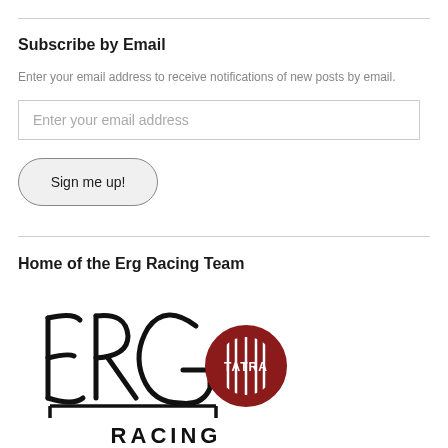Subscribe by Email
Enter your email address to receive notifications of new posts by email.
Enter your email address
Sign me up!
Home of the Erg Racing Team
[Figure (logo): ERG Racing Team logo with handwritten ERG letters and Tatra circular badge]